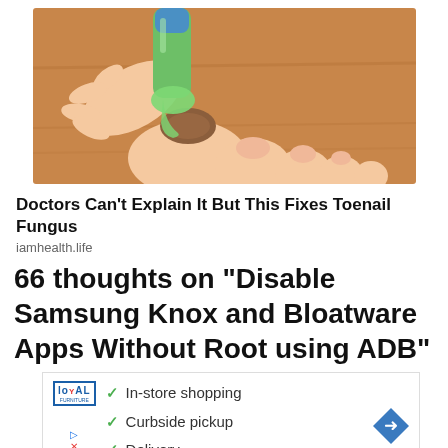[Figure (illustration): Illustrated image of a hand applying green liquid from a bottle to a toenail with fungus on a wooden surface background]
Doctors Can't Explain It But This Fixes Toenail Fungus
iamhealth.life
66 thoughts on "Disable Samsung Knox and Bloatware Apps Without Root using ADB"
[Figure (screenshot): Advertisement box showing Loyal logo with checkmarks for In-store shopping, Curbside pickup, and Delivery, with a blue diamond arrow icon on the right and navigation controls on the left]